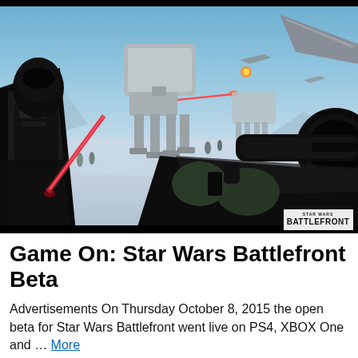[Figure (screenshot): Star Wars Battlefront game screenshot showing a snowy battlefield on Hoth with AT-AT walkers, Darth Vader with a red lightsaber in the foreground left, a first-person view of a sniper rifle on the right, soldiers fighting in the background, and Imperial Star Destroyers in the sky. The Star Wars Battlefront logo is in the bottom right corner.]
Game On: Star Wars Battlefront Beta
Advertisements On Thursday October 8, 2015 the open beta for Star Wars Battlefront went live on PS4, XBOX One and … More